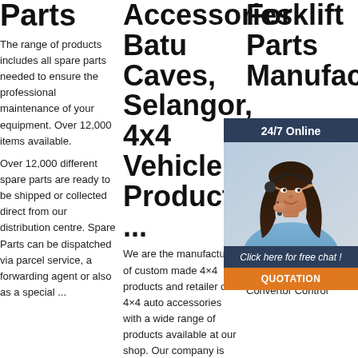Parts
The range of products includes all spare parts needed to ensure the professional maintenance of your equipment. Over 12,000 items available. Over 12,000 different spare parts are ready to be shipped or collected direct from our distribution centre. Spare Parts can be dispatched via parcel service, a forwarding agent or also as a special ...
Accessories Batu Caves, Selangor, 4x4 Vehicle Product ...
We are the manufacturer of custom made 4×4 products and retailer of 4×4 auto accessories with a wide range of products available at our shop. Our company is located in Batu Caves, Selangor,
Forklift Parts Manufactur... Fo... Sp... Pa...
Forkl... Spa... Forkl... man... in China, offering Forklift Genuine Parts K91328-04000 Okamura Transimssion Torque Convertor Control
[Figure (photo): Customer service representative woman with headset, 24/7 Online chat widget overlay with dark navy background, photo of woman, Click here for free chat text, and QUOTATION orange button]